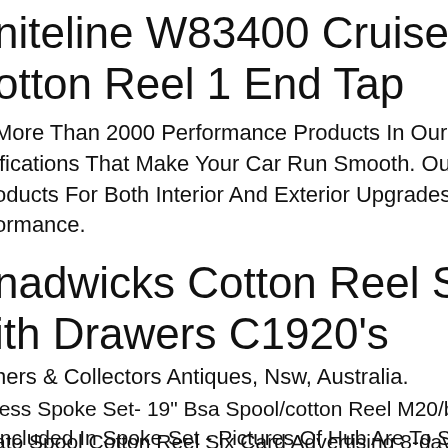niteline W83400 Cruiser R/panhard otton Reel 1 End Tap
More Than 2000 Performance Products In Our Warehouse. We Care For All T ifications That Make Your Car Run Smooth. Our Showroom Displays A Wide R oducts For Both Interior And Exterior Upgrades From Appearance To ormance.
nadwicks Cotton Reel Sewing Cabinet ith Drawers C1920's
ners & Collectors Antiques, Nsw, Australia.
less Spoke Set- 19" Bsa Spool/cotton Reel M20/b33 Rigid Frame Hub -rear. H Included In Spoke Set - Pictures Of Hub Are To Show What This Spoke Is Mad olished Stainless Spoke Set This Spoke Set Includes Nipples To Complete Th Hub Type Single Sided (12 Width) Rear Hub With A 19" Rim.
ato Spool Cotton Reel Six Card Advertising 8-day Chime Wall Clock Workin